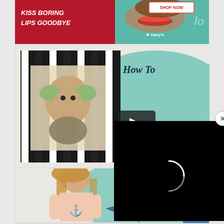[Figure (photo): Macy's advertisement banner — 'KISS BORING LIPS GOODBYE' with red lips photo, teal background, SHOP NOW button and Macy's star logo]
[Figure (screenshot): Sewing Shwin blog video thumbnail card showing a girl in a pink top with anchor print, teal speech-bubble background, 'How To Aa...' script text, YouTube play button, and Sewing Shwin logo overlay]
[Figure (screenshot): Black video player overlay with loading spinner and close (X) button, positioned over the second card]
[Figure (photo): Partial third card at bottom showing a girl with straight brown hair and 'How To Add a ruffle to a Tee' script text on teal background, with a scroll-up arrow button]